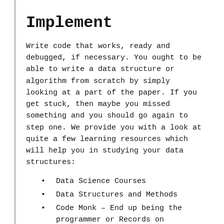Implement
Write code that works, ready and debugged, if necessary. You ought to be able to write a data structure or algorithm from scratch by simply looking at a part of the paper. If you get stuck, then maybe you missed something and you should go again to step one. We provide you with a look at quite a few learning resources which will help you in studying your data structures:
Data Science Courses
Data Structures and Methods
Code Monk – End up being the programmer or Records on HackerEarth
Learning data structures is, first of all, their understanding, and not just implementation. This is due to the fact that manipulating a data structure so that it